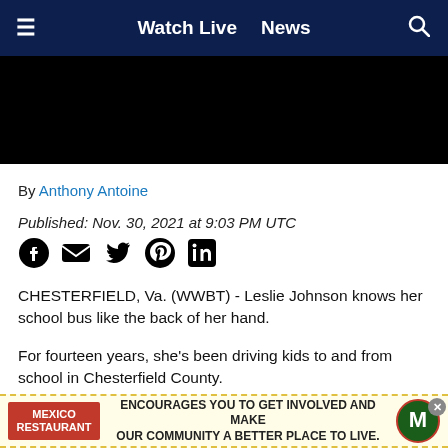≡  Watch Live  News  🔍
[Figure (photo): Black video player placeholder]
By Anthony Antoine
Published: Nov. 30, 2021 at 9:03 PM UTC
[Figure (other): Social share icons: Facebook, Email, Twitter, Pinterest, LinkedIn]
CHESTERFIELD, Va. (WWBT) - Leslie Johnson knows her school bus like the back of her hand.
For fourteen years, she's been driving kids to and from school in Chesterfield County.
Parents like Allison Krumpe, and so many others, absolu
[Figure (other): Advertisement banner: Mexico Restaurant encourages you to get involved and make our community a better place to live.]
"We fe